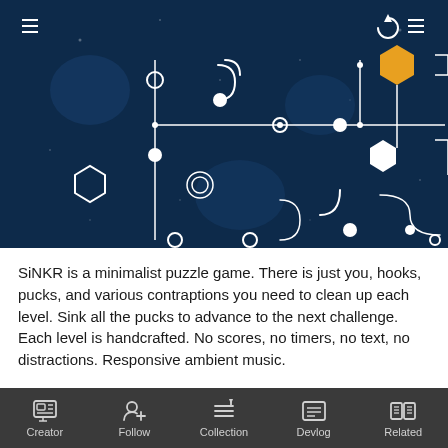[Figure (screenshot): SiNKR minimalist puzzle game screenshot showing dark navy blue background with white geometric line connectors, circles, hexagon shapes in white and gold/yellow, dots and curved connectors forming a puzzle level. UI icons for menu and reload visible at top corners.]
SiNKR is a minimalist puzzle game. There is just you, hooks, pucks, and various contraptions you need to clean up each level. Sink all the pucks to advance to the next challenge. Each level is handcrafted. No scores, no timers, no text, no distractions. Responsive ambient music.
[Figure (screenshot): Bottom teal/cyan banner showing the SiNKR game title logo in large stylized white font with glow effect on teal grid background.]
Creator   Follow   Collection   Devlog   Related